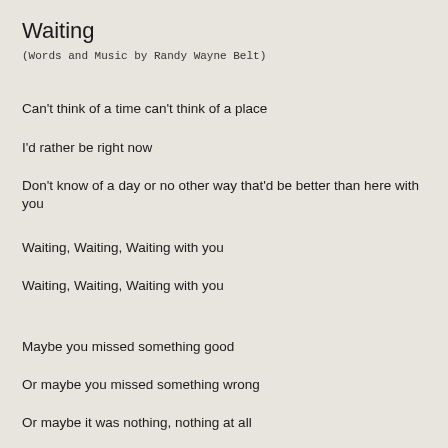Waiting
(Words and Music by Randy Wayne Belt)
Can't think of a time can't think of a place
I'd rather be right now
Don't know of a day or no other way that'd be better than here with you
Waiting, Waiting, Waiting with you
Waiting, Waiting, Waiting with you
Maybe you missed something good
Or maybe you missed something wrong
Or maybe it was nothing, nothing at all